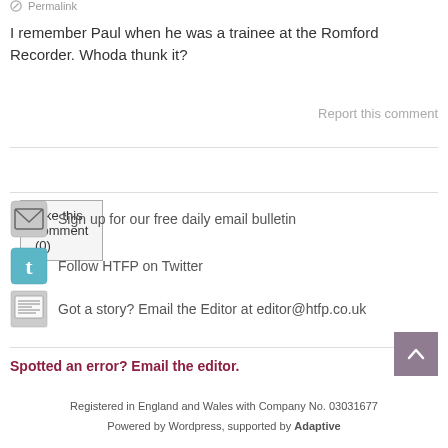Permalink
I remember Paul when he was a trainee at the Romford Recorder. Whoda thunk it?
Like this comment (0)
Report this comment
Sign up for our free daily email bulletin
Follow HTFP on Twitter
Got a story? Email the Editor at editor@htfp.co.uk
Spotted an error? Email the editor.
Registered in England and Wales with Company No. 03031677
Powered by Wordpress, supported by Adaptive